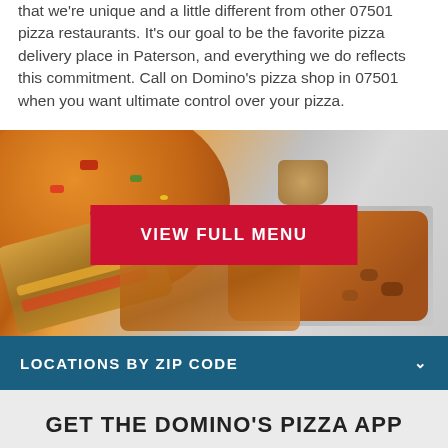that we're unique and a little different from other 07501 pizza restaurants. It's our goal to be the favorite pizza delivery place in Paterson, and everything we do reflects this commitment. Call on Domino's pizza shop in 07501 when you want ultimate control over your pizza.
[Figure (photo): Food photo showing a Domino's pizza, sandwich/sub, chicken wings on foil, and a sauce cup on a metallic surface, with a red 'VIEW FULL MENU' button overlay in the center.]
LOCATIONS BY ZIP CODE
GET THE DOMINO'S PIZZA APP